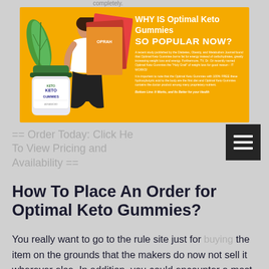completely.
[Figure (infographic): Orange banner advertisement for Optimal Keto Gummies showing a woman in white fitness wear, a jar of Keto Gummies product, stacked magazines, a leaf plant, and text 'WHY IS Optimal Keto Gummies SO POPULAR NOW?' with body copy and tagline 'Bottom Line: It Works, and Its Better for your Health']
== Order Today: Click Here To View Pricing and Availability ==
How To Place An Order for Optimal Keto Gummies?
You really want to go to the rule site just for buying the item on the grounds that the makers do now not sell it wherever else. In addition, you could encounter a most extreme rebate through setting short Orders